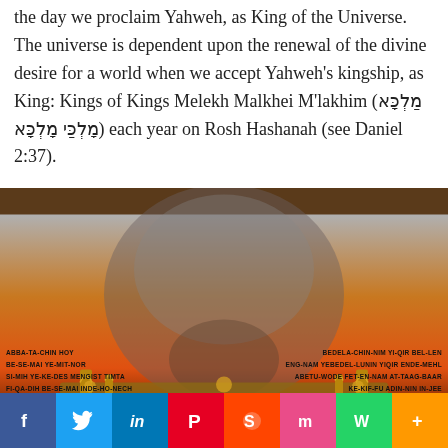the day we proclaim Yahweh, as King of the Universe. The universe is dependent upon the renewal of the divine desire for a world when we accept Yahweh's kingship, as King: Kings of Kings Melekh Malkhei M'lakhim (מַלְכָּא מָלְכַּי מָלְכָּא) each year on Rosh Hashanah (see Daniel 2:37).
[Figure (photo): A portrait-style image of an elderly man's face overlaid on a dramatic orange sky background with golden gates at the bottom. Text overlaid on both sides lists phrases in transliterated language.]
Facebook Twitter LinkedIn Pinterest Reddit Mix WhatsApp More